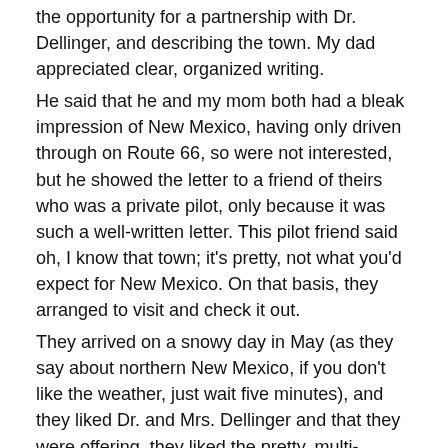the opportunity for a partnership with Dr. Dellinger, and describing the town. My dad appreciated clear, organized writing.
He said that he and my mom both had a bleak impression of New Mexico, having only driven through on Route 66, so were not interested, but he showed the letter to a friend of theirs who was a private pilot, only because it was such a well-written letter. This pilot friend said oh, I know that town; it's pretty, not what you'd expect for New Mexico. On that basis, they arranged to visit and check it out.
They arrived on a snowy day in May (as they say about northern New Mexico, if you don't like the weather, just wait five minutes), and they liked Dr. and Mrs. Dellinger and that they were offering, they liked the pretty, multi-cultural, bilingual town and the fact that it had a university, which they felt made for a better school system. I don't regret their decision; it's been a fascinating place to live and to grow up.
My childhood in Las Vegas was uneventful on one level, but of course with more than my share of inner turmoil. I had only one